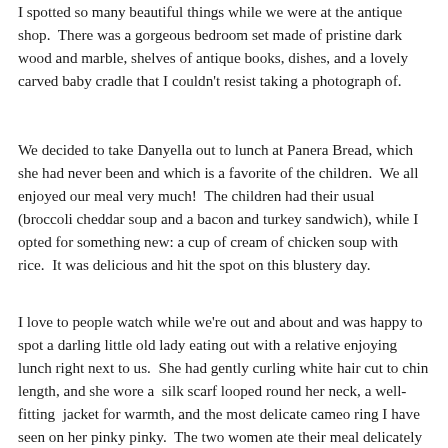I spotted so many beautiful things while we were at the antique shop.  There was a gorgeous bedroom set made of pristine dark wood and marble, shelves of antique books, dishes, and a lovely carved baby cradle that I couldn't resist taking a photograph of.
We decided to take Danyella out to lunch at Panera Bread, which she had never been and which is a favorite of the children.  We all enjoyed our meal very much!  The children had their usual (broccoli cheddar soup and a bacon and turkey sandwich), while I opted for something new: a cup of cream of chicken soup with rice.  It was delicious and hit the spot on this blustery day.
I love to people watch while we're out and about and was happy to spot a darling little old lady eating out with a relative enjoying lunch right next to us.  She had gently curling white hair cut to chin length, and she wore a  silk scarf looped round her neck, a well-fitting  jacket for warmth, and the most delicate cameo ring I have seen on her pinky pinky.  The two women ate their meal delicately and enjoyed quiet conversation together...  a change from the loud and more vociferous eaters I usually see.  I tried to be inconspicuous in my observations of them, so as not to appear rude, but it really inspired me to see them dressed and groomed